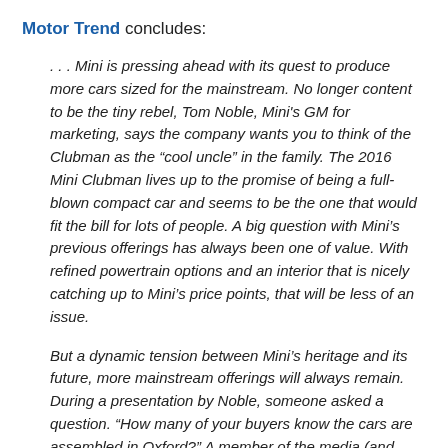Motor Trend concludes:
. . . Mini is pressing ahead with its quest to produce more cars sized for the mainstream. No longer content to be the tiny rebel, Tom Noble, Mini's GM for marketing, says the company wants you to think of the Clubman as the “cool uncle” in the family. The 2016 Mini Clubman lives up to the promise of being a full-blown compact car and seems to be the one that would fit the bill for lots of people. A big question with Mini’s previous offerings has always been one of value. With refined powertrain options and an interior that is nicely catching up to Mini’s price points, that will be less of an issue.
But a dynamic tension between Mini’s heritage and its future, more mainstream offerings will always remain. During a presentation by Noble, someone asked a question. “How many of your buyers know the cars are assembled in Oxford?” A member of the media (and fan of the brand)